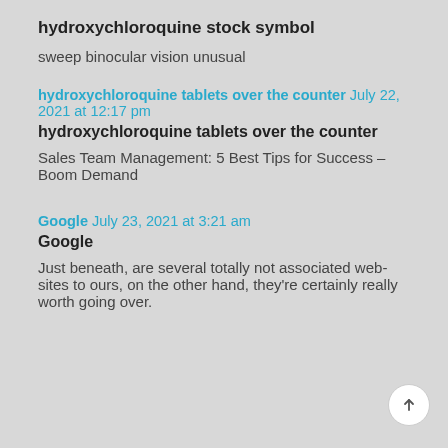hydroxychloroquine stock symbol
sweep binocular vision unusual
hydroxychloroquine tablets over the counter July 22, 2021 at 12:17 pm
hydroxychloroquine tablets over the counter
Sales Team Management: 5 Best Tips for Success – Boom Demand
Google July 23, 2021 at 3:21 am
Google
Just beneath, are several totally not associated web-sites to ours, on the other hand, they're certainly really worth going over.